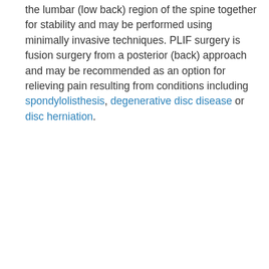the lumbar (low back) region of the spine together for stability and may be performed using minimally invasive techniques. PLIF surgery is fusion surgery from a posterior (back) approach and may be recommended as an option for relieving pain resulting from conditions including spondylolisthesis, degenerative disc disease or disc herniation.